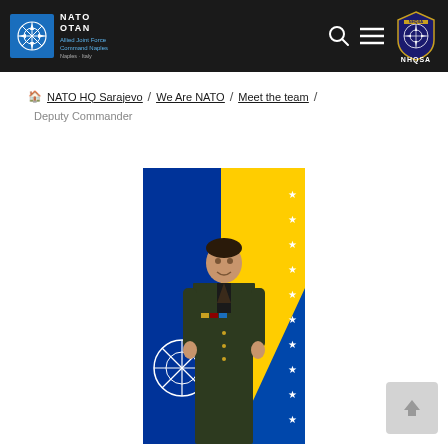NATO / OTAN — Allied Joint Force Command Naples — NHQSA
NATO HQ Sarajevo / We Are NATO / Meet the team / Deputy Commander
[Figure (photo): Military officer in green dress uniform standing in front of NATO and Bosnian flags]